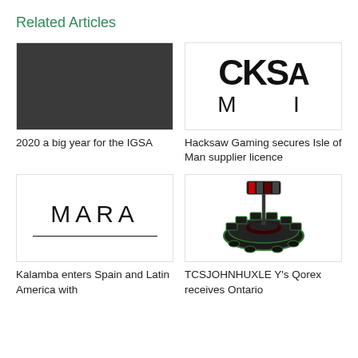Related Articles
[Figure (photo): Dark gray/charcoal colored rectangle placeholder image]
2020 a big year for the IGSA
[Figure (logo): Hacksaw Gaming logo — large bold letters CKS (partially visible) with M and I below]
Hacksaw Gaming secures Isle of Man supplier licence
[Figure (logo): MARA logo in thin sans-serif letters with a horizontal line below]
Kalamba enters Spain and Latin America with
[Figure (photo): Photo of a circular roulette table gaming machine with green accents and multiple screens]
TCSJOHNHUXLEY's Qorex receives Ontario